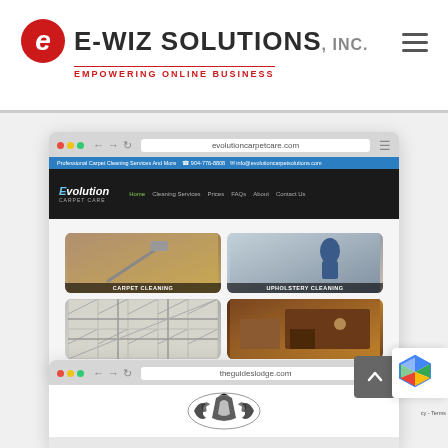[Figure (screenshot): E-WIZ Solutions Inc. website header with logo and tagline 'Empowering Online Business']
[Figure (screenshot): Browser screenshot of evolutioncarpetcare.com showing Evolution Carpet Care website with navigation and four service thumbnail images: Carpet Cleaning, Upholstery Cleaning, and two more below]
[Figure (screenshot): Browser screenshot of theguideslodge.com showing partial view of website with decorative logo]